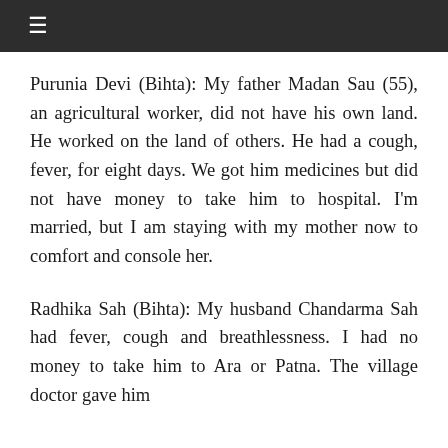≡
Purunia Devi (Bihta): My father Madan Sau (55), an agricultural worker, did not have his own land. He worked on the land of others. He had a cough, fever, for eight days. We got him medicines but did not have money to take him to hospital. I'm married, but I am staying with my mother now to comfort and console her.
Radhika Sah (Bihta): My husband Chandarma Sah had fever, cough and breathlessness. I had no money to take him to Ara or Patna. The village doctor gave him